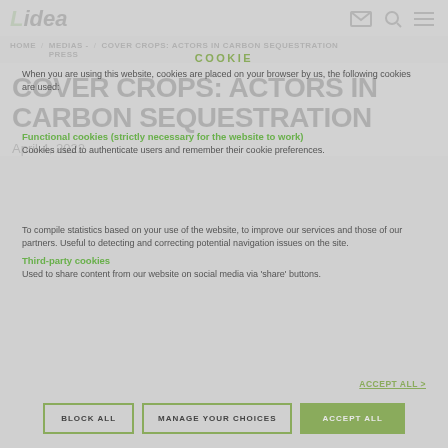Lidea
COOKIE
When you are using this website, cookies are placed on your browser by us, the following cookies are used:
HOME / MEDIAS - PRESS / COVER CROPS: ACTORS IN CARBON SEQUESTRATION
Functional cookies (strictly necessary for the website to work)
Cookies used to authenticate users and remember their cookie preferences.
COVER CROPS: ACTORS IN CARBON SEQUESTRATION
April 4, 2022
To compile statistics based on your use of the website, to improve our services and those of our partners. Useful to detecting and correcting potential navigation issues on the site.
Third-party cookies
Used to share content from our website on social media via 'share' buttons.
BLOCK ALL    MANAGE YOUR CHOICES    ACCEPT ALL